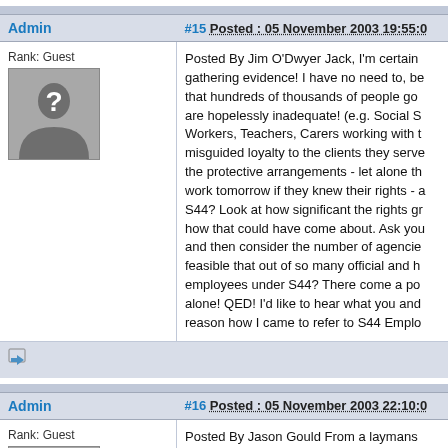Admin | #15 Posted : 05 November 2003 19:55:0
Rank: Guest
Posted By Jim O'Dwyer Jack, I'm certain gathering evidence! I have no need to, be that hundreds of thousands of people go are hopelessly inadequate! (e.g. Social S Workers, Teachers, Carers working with t misguided loyalty to the clients they serve the protective arrangements - let alone th work tomorrow if they knew their rights - a S44? Look at how significant the rights gr how that could have come about. Ask you and then consider the number of agencie feasible that out of so many official and h employees under S44? There come a po alone! QED! I'd like to hear what you and reason how I came to refer to S44 Emplo
Admin | #16 Posted : 05 November 2003 22:10:0
Rank: Guest
Posted By Jason Gould From a laymans had many inductions. Done upto dip 1 an